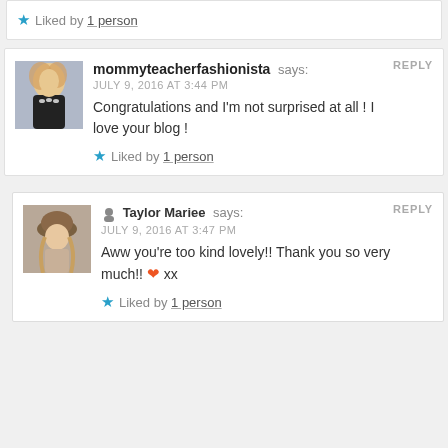Liked by 1 person
REPLY
[Figure (photo): Avatar photo of mommyteacherfashionista - woman with blonde hair wearing dark top and pearl necklace]
mommyteacherfashionista says: JULY 9, 2016 AT 3:44 PM
Congratulations and I'm not surprised at all ! I love your blog !
Liked by 1 person
REPLY
[Figure (photo): Avatar photo of Taylor Mariee - young woman wearing a hat with long hair]
Taylor Mariee says: JULY 9, 2016 AT 3:47 PM
Aww you're too kind lovely!! Thank you so very much!! ❤ xx
Liked by 1 person